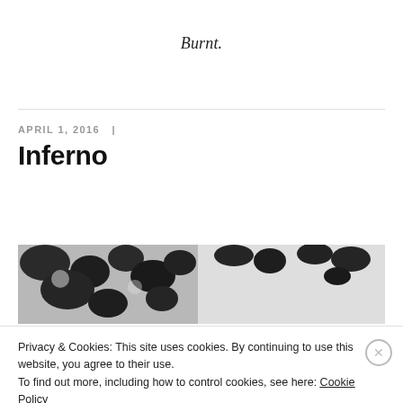Burnt.
APRIL 1, 2016  |
Inferno
[Figure (photo): A partially visible black and white photograph of what appears to be trees or foliage against a light background.]
Privacy & Cookies: This site uses cookies. By continuing to use this website, you agree to their use.
To find out more, including how to control cookies, see here: Cookie Policy
Close and accept